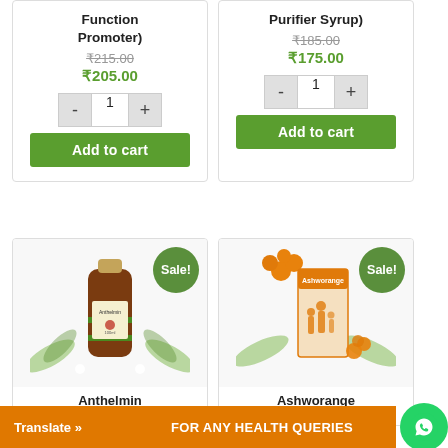Function Promoter)
₹215.00 ₹205.00
Add to cart
Purifier Syrup)
₹185.00 ₹175.00
Add to cart
[Figure (photo): Anthelmin syrup bottle with herbal leaf decorations]
Sale!
Anthelmin
[Figure (photo): Ashworange syrup box with orange berries and family illustration]
Sale!
Ashworange
Translate »
FOR ANY HEALTH QUERIES